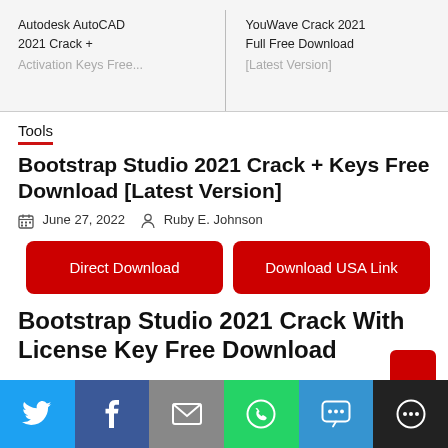Autodesk AutoCAD 2021 Crack + Activation Keys Free ... | YouWave Crack 2021 Full Free Download [Latest Version]
Tools
Bootstrap Studio 2021 Crack + Keys Free Download [Latest Version]
June 27, 2022  Ruby E. Johnson
Direct Download | Download USA Link
Bootstrap Studio 2021 Crack With License Key Free Download
Twitter | Facebook | Email | WhatsApp | SMS | More